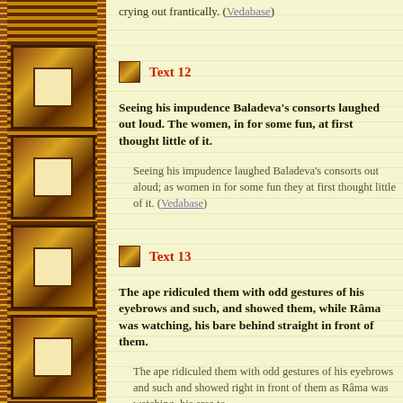crying out frantically. (Vedabase)
Text 12
Seeing his impudence Baladeva's consorts laughed out loud. The women, in for some fun, at first thought little of it.
Seeing his impudence laughed Baladeva's consorts out aloud; as women in for some fun they at first thought little of it. (Vedabase)
Text 13
The ape ridiculed them with odd gestures of his eyebrows and such, and showed them, while Râma was watching, his bare behind straight in front of them.
The ape ridiculed them with odd gestures of his eyebrows and such and showed right in front of them as Râma was watching, his arse to